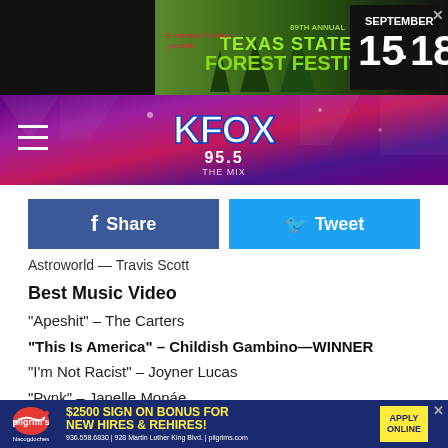[Figure (screenshot): Top advertisement banner for Texas State Forest Festival, September 15-18, with green forest background]
[Figure (screenshot): KFOX 95.5 radio station header bar with purple/magenta gradient background, hamburger menu icon on left, KFOX 95.5 logo centered]
[Figure (screenshot): Facebook Share button (dark blue) and Twitter Tweet button (light blue) social sharing row]
Astroworld — Travis Scott
Best Music Video
“Apeshit” – The Carters
“This Is America” – Childish Gambino—WINNER
“I’m Not Racist” – Joyner Lucas
“Pynk” – Janelle Monáe
“Mumbo Jumbo” – Tierra Whack
[Figure (screenshot): Pilgrim's Pride advertisement: $2500 Sign On Bonus for New Hires & Rehires, Apply Online, Nacogdoches location]